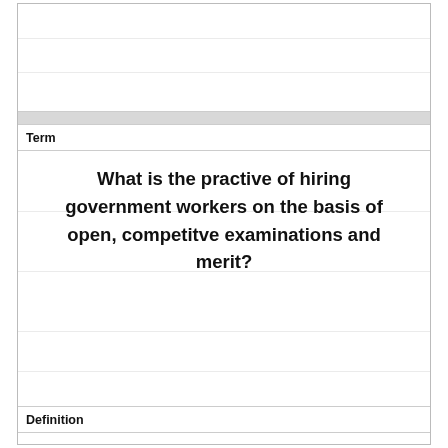Term
What is the practive of hiring government workers on the basis of open, competitve examinations and merit?
Definition
civil service system